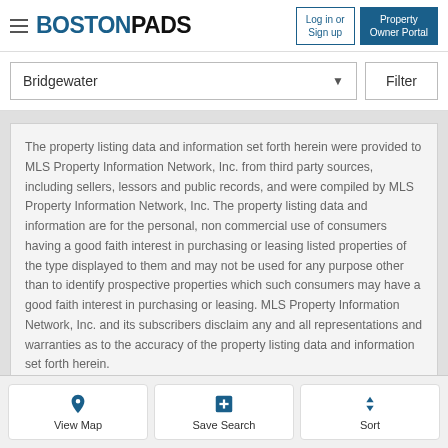BOSTONPADS — Log in or Sign up | Property Owner Portal
Bridgewater
Filter
The property listing data and information set forth herein were provided to MLS Property Information Network, Inc. from third party sources, including sellers, lessors and public records, and were compiled by MLS Property Information Network, Inc. The property listing data and information are for the personal, non commercial use of consumers having a good faith interest in purchasing or leasing listed properties of the type displayed to them and may not be used for any purpose other than to identify prospective properties which such consumers may have a good faith interest in purchasing or leasing. MLS Property Information Network, Inc. and its subscribers disclaim any and all representations and warranties as to the accuracy of the property listing data and information set forth herein.
View Map
Save Search
Sort